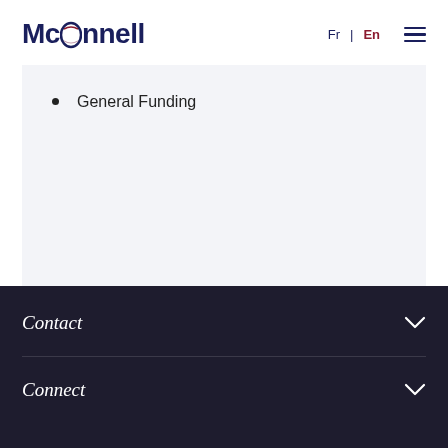McConnell  Fr | En ☰
General Funding
Contact ∨  Connect ∨